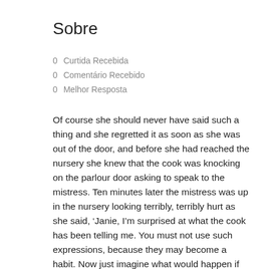Sobre
0 Curtida Recebida
0 Comentário Recebido
0 Melhor Resposta
Of course she should never have said such a thing and she regretted it as soon as she was out of the door, and before she had reached the nursery she knew that the cook was knocking on the parlour door asking to speak to the mistress. Ten minutes later the mistress was up in the nursery looking terribly, terribly hurt as she said, ‘Janie, I’m surprised at what the cook has been telling me. You must not use such expressions, because they may become a habit. Now just imagine what would happen if you said something like that in front of the children.’ She had gulped and stood speechless